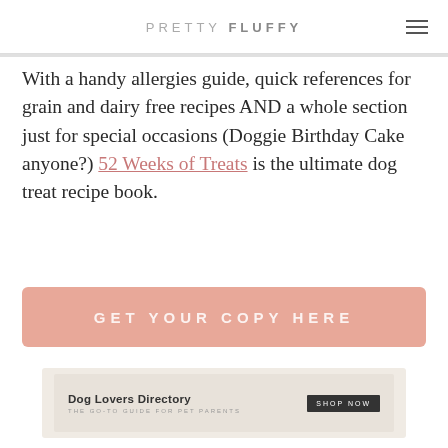PRETTY FLUFFY
With a handy allergies guide, quick references for grain and dairy free recipes AND a whole section just for special occasions (Doggie Birthday Cake anyone?) 52 Weeks of Treats is the ultimate dog treat recipe book.
GET YOUR COPY HERE
[Figure (other): Dog Lovers Directory advertisement banner - THE GO-TO GUIDE FOR PET PARENTS with SHOP NOW button]